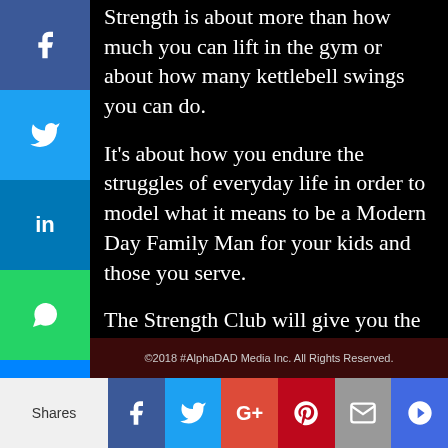Strength is about more than how much you can lift in the gym or about how many kettlebell swings you can do.
It's about how you endure the struggles of everyday life in order to model what it means to be a Modern Day Family Man for your kids and those you serve.
The Strength Club will give you the tools, motivation and support to live your best life as an AlphaDAD.
Check Out The STRENGTH CLUB x ADP
©2018 #AlphaDAD Media Inc. All Rights Reserved.